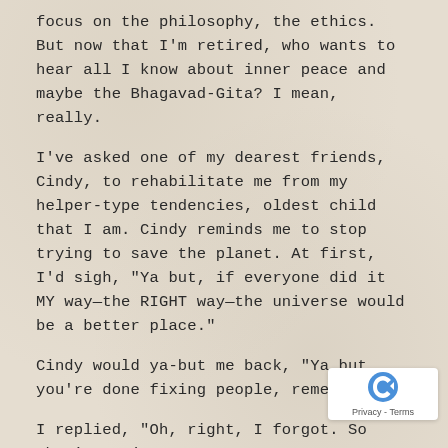focus on the philosophy, the ethics. But now that I'm retired, who wants to hear all I know about inner peace and maybe the Bhagavad-Gita? I mean, really.
I've asked one of my dearest friends, Cindy, to rehabilitate me from my helper-type tendencies, oldest child that I am. Cindy reminds me to stop trying to save the planet. At first, I'd sigh, "Ya but, if everyone did it MY way—the RIGHT way—the universe would be a better place."
Cindy would ya-but me back, "Ya but you're done fixing people, remember?"
I replied, "Oh, right, I forgot. So what's my j... If I can't do this,
and I don't do that,
[Figure (logo): reCAPTCHA badge with blue logo and Privacy - Terms link]